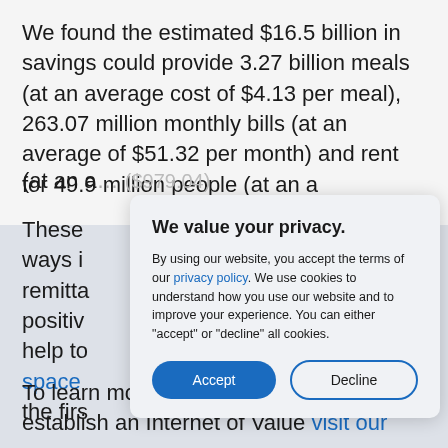We found the estimated $16.5 billion in savings could provide 3.27 billion meals (at an average cost of $4.13 per meal), 263.07 million monthly bills (at an average of $51.32 per month) and rent for 49.9 million people (at an average of $979.04).
These ways in remitta positiv help to space the first
To learn more about Ripple's vision to establish an Internet of Value visit our
[Figure (screenshot): Cookie consent modal dialog box with title 'We value your privacy.' and body text about privacy policy and cookies. Has two buttons: 'Accept' (blue filled) and 'Decline' (outlined).]